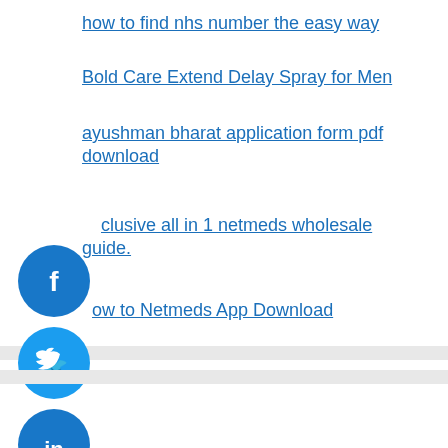how to find nhs number the easy way
Bold Care Extend Delay Spray for Men
ayushman bharat application form pdf download
clusive all in 1 netmeds wholesale guide.
ow to Netmeds App Download
[Figure (infographic): Social sharing buttons: Facebook (blue circle with f icon), Twitter (blue circle with bird icon), LinkedIn (blue circle with in icon), More (grey circle with + icon)]